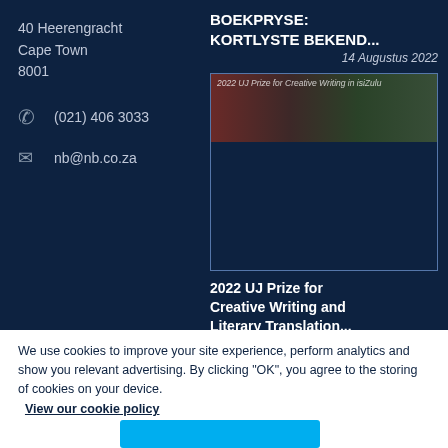40 Heerengracht
Cape Town
8001
(021) 406 3033
nb@nb.co.za
BOEKPRYSE: KORTLYSTE BEKEND...
14 Augustus 2022
[Figure (photo): Image for 2022 UJ Prize for Creative Writing in isiZulu article, showing dark animal imagery and green foliage]
2022 UJ Prize for Creative Writing and Literary Translation...
29 Julie 2022
We use cookies to improve your site experience, perform analytics and show you relevant advertising. By clicking "OK", you agree to the storing of cookies on your device.
View our cookie policy